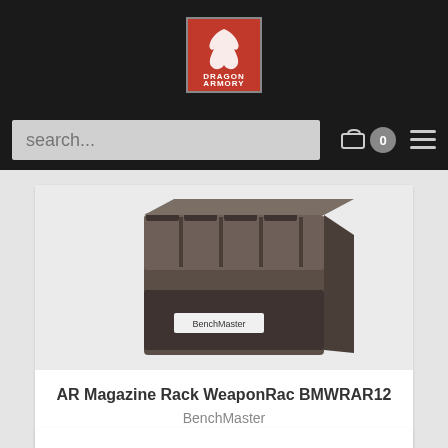Dragon Armory logo and navigation header
[Figure (logo): Dragon Armory logo: red box with dragon silhouette and text DRAGON ARMORY]
search...
[Figure (illustration): AR Magazine Rack WeaponRac BMWRAR12 product photo - dark grey/brown magazine rack storage organizer with multiple slots and BenchMaster label]
AR Magazine Rack WeaponRac BMWRAR12
BenchMaster
$28.99
Add To Cart